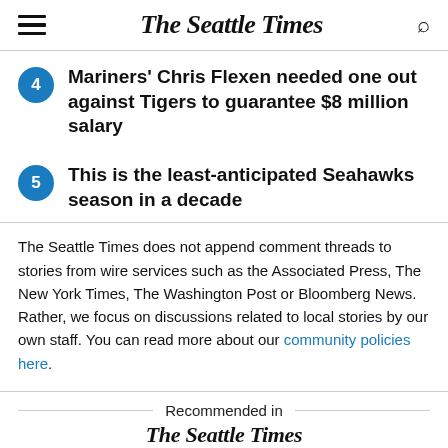The Seattle Times
Mariners' Chris Flexen needed one out against Tigers to guarantee $8 million salary
This is the least-anticipated Seahawks season in a decade
The Seattle Times does not append comment threads to stories from wire services such as the Associated Press, The New York Times, The Washington Post or Bloomberg News. Rather, we focus on discussions related to local stories by our own staff. You can read more about our community policies here.
Recommended in The Seattle Times
[Figure (photo): Partial image at bottom of page, partially cut off]